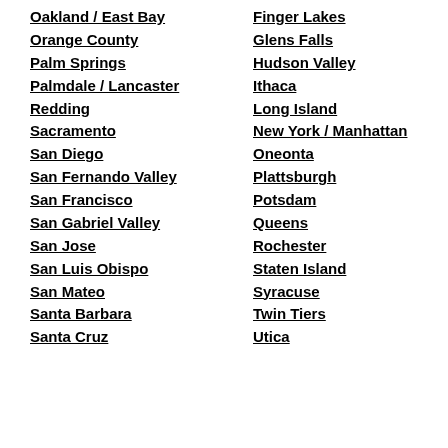Oakland / East Bay
Orange County
Palm Springs
Palmdale / Lancaster
Redding
Sacramento
San Diego
San Fernando Valley
San Francisco
San Gabriel Valley
San Jose
San Luis Obispo
San Mateo
Santa Barbara
Santa Cruz
Finger Lakes
Glens Falls
Hudson Valley
Ithaca
Long Island
New York / Manhattan
Oneonta
Plattsburgh
Potsdam
Queens
Rochester
Staten Island
Syracuse
Twin Tiers
Utica